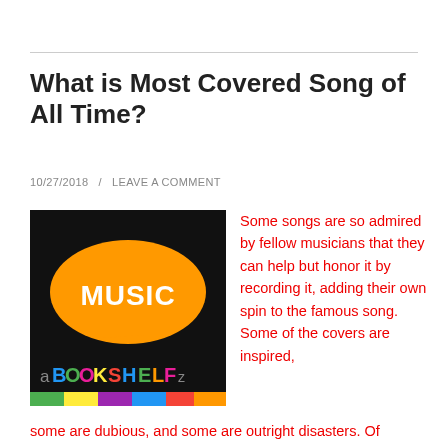What is Most Covered Song of All Time?
10/27/2018  /  LEAVE A COMMENT
[Figure (logo): aBOOKSHELFz logo with orange speech bubble containing the word MUSIC on a black background]
Some songs are so admired by fellow musicians that they can help but honor it by recording it, adding their own spin to the famous song. Some of the covers are inspired, some are dubious, and some are outright disasters. Of